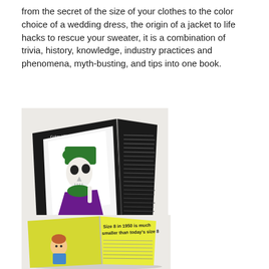from the secret of the size of your clothes to the color choice of a wedding dress, the origin of a jacket to life hacks to rescue your sweater, it is a combination of trivia, history, knowledge, industry practices and phenomena, myth-busting, and tips into one book.
[Figure (photo): Open book with dark/black pages spread open, showing a skull illustration wearing a green hat and purple costume on the left page with text 'Colors killing you slowly', and small white text on the right black page. Book is photographed at an angle on a light surface.]
[Figure (photo): Open book with bright yellow pages, showing text 'Size 8 in 1950 is much smaller than today's size 8' on the right page, and an illustration of a doll/figure on the lower left page, with additional small text visible. Book photographed at an angle.]